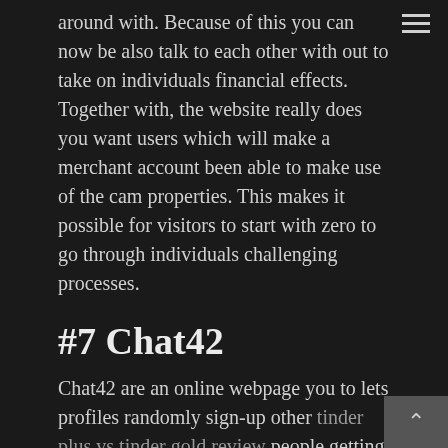around with. Because of this you can now be also talk to each other with out to take on individuals financial effects. Together with, the website really does you want users which will make a merchant account been able to make use of the cam properties. This makes it possible for visitors to start with zero to go through individuals challenging processes.
#7 Chat42
Chat42 are an online webpage you to lets profiles randomly sign-up other tinder plus vs tinder gold review people getting revealing more negotiations with texts, emoji, and other situations no membership. The latest talked about element of the module is that it's a beneficial highest representative base. This is why you will find constantly lots of people on the internet who are ready to speak. This makes it easy for